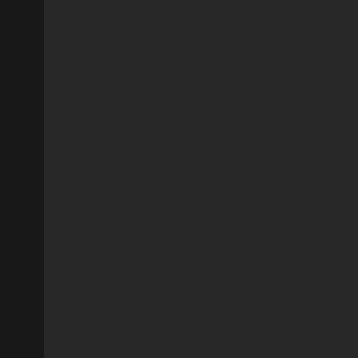PC: "This will b...
HHL: "Easily the biggest m...
Andre hands his Title over to the ref a...
referee tak...
[Figure (other): Red bordered rectangle on black background]
Stone and Dixon lock-up in the center...
him to let go. Andre follows it up with...